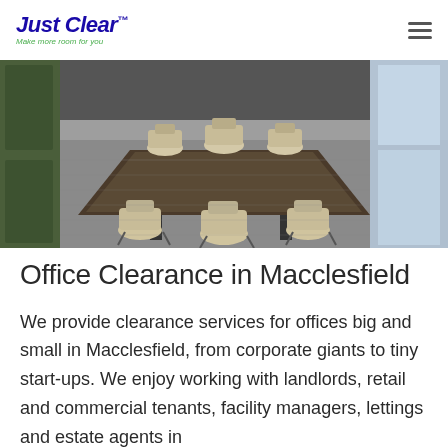Just Clear™ — Make more room for you
[Figure (photo): Interior photo of a modern conference room with a long dark table, multiple cream/beige office chairs on wheels, grey striped carpet, green-paneled wall on the left, and large windows on the right letting in natural light.]
Office Clearance in Macclesfield
We provide clearance services for offices big and small in Macclesfield, from corporate giants to tiny start-ups. We enjoy working with landlords, retail and commercial tenants, facility managers, lettings and estate agents in